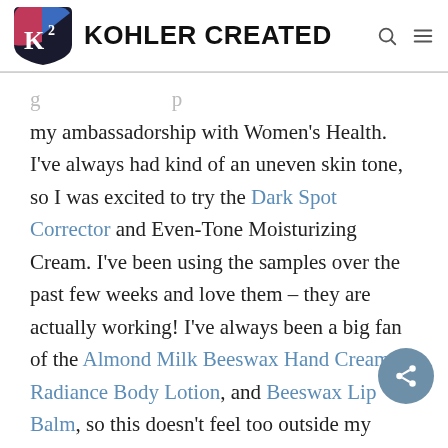KOHLER CREATED
my ambassadorship with Women's Health. I've always had kind of an uneven skin tone, so I was excited to try the Dark Spot Corrector and Even-Tone Moisturizing Cream. I've been using the samples over the past few weeks and love them – they are actually working! I've always been a big fan of the Almond Milk Beeswax Hand Cream, Radiance Body Lotion, and Beeswax Lip Balm, so this doesn't feel too outside my comfort zone. My samples are almost gone,